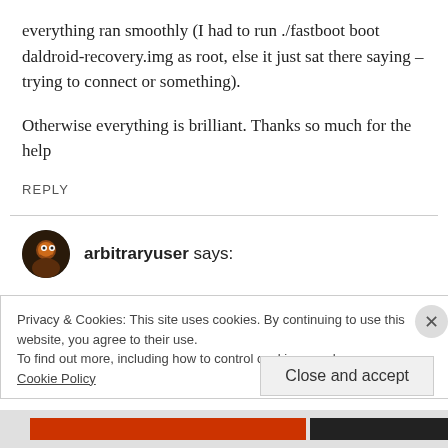everything ran smoothly (I had to run ./fastboot boot daldroid-recovery.img as root, else it just sat there saying – trying to connect or something).
Otherwise everything is brilliant. Thanks so much for the help
REPLY
arbitraryuser says:
Privacy & Cookies: This site uses cookies. By continuing to use this website, you agree to their use.
To find out more, including how to control cookies, see here:
Cookie Policy
Close and accept